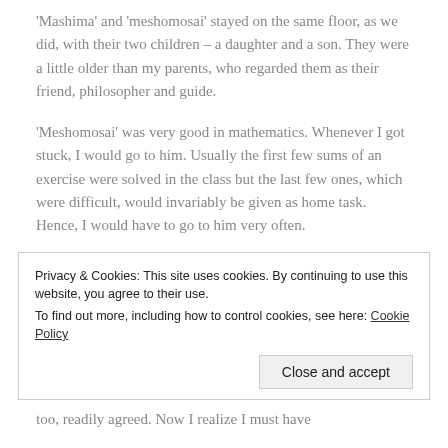'Mashima' and 'meshomosai' stayed on the same floor, as we did, with their two children – a daughter and a son. They were a little older than my parents, who regarded them as their friend, philosopher and guide.
'Meshomosai' was very good in mathematics. Whenever I got stuck, I would go to him. Usually the first few sums of an exercise were solved in the class but the last few ones, which were difficult, would invariably be given as home task. Hence, I would have to go to him very often.
Privacy & Cookies: This site uses cookies. By continuing to use this website, you agree to their use. To find out more, including how to control cookies, see here: Cookie Policy
too, readily agreed. Now I realize I must have